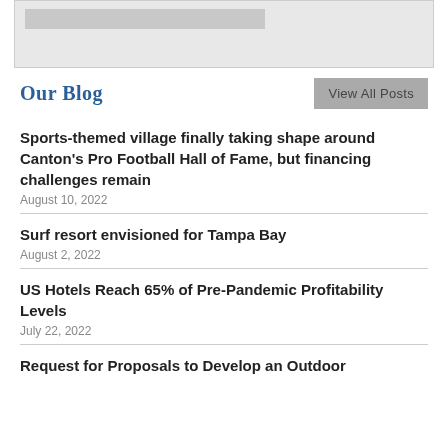[Figure (screenshot): Gray banner placeholder image at top of page]
Our Blog
View All Posts
Sports-themed village finally taking shape around Canton's Pro Football Hall of Fame, but financing challenges remain
August 10, 2022
Surf resort envisioned for Tampa Bay
August 2, 2022
US Hotels Reach 65% of Pre-Pandemic Profitability Levels
July 22, 2022
Request for Proposals to Develop an Outdoor